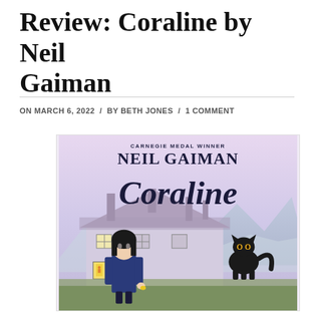Review: Coraline by Neil Gaiman
ON MARCH 6, 2022 / BY BETH JONES / 1 COMMENT
[Figure (illustration): Book cover of Coraline by Neil Gaiman. Carnegie Medal Winner. Shows a girl with black hair in a blue coat holding a small object, a black cat sitting to the right, and a large manor house in the background with misty mountains. Illustrated cover art.]